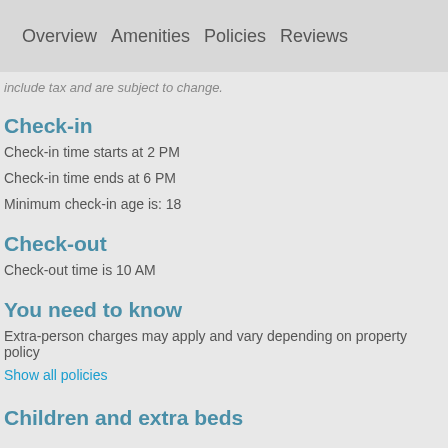Overview   Amenities   Policies   Reviews
include tax and are subject to change.
Check-in
Check-in time starts at 2 PM
Check-in time ends at 6 PM
Minimum check-in age is: 18
Check-out
Check-out time is 10 AM
You need to know
Extra-person charges may apply and vary depending on property policy
Show all policies
Children and extra beds